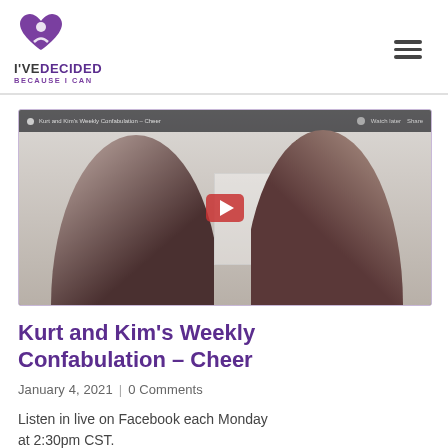[Figure (logo): I've Decided – Because I Can logo with purple heart/figure icon and text]
[Figure (screenshot): Video thumbnail showing two people laughing together in an office/room setting, with a YouTube-style play button overlay. A woman with long hair on the left and a bald man in a dark red shirt on the right.]
Kurt and Kim's Weekly Confabulation – Cheer
January 4, 2021  |  0 Comments
Listen in live on Facebook each Monday at 2:30pm CST.